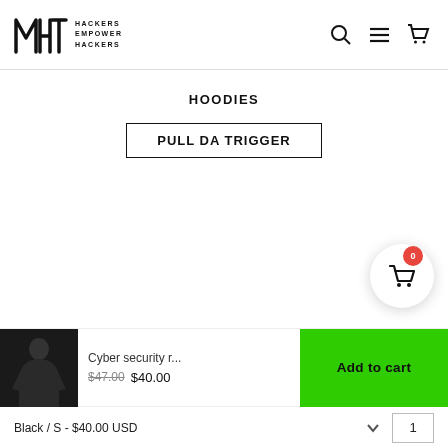MHT — HACKERS EMPOWER HACKERS
HOODIES
PULL DA TRIGGER
[Figure (illustration): Floating circular cart button with badge showing 0 items]
[Figure (photo): Product thumbnail: person wearing cyber security hoodie]
Cyber security r... $47.00 $40.00
Add to cart
Black / S - $40.00 USD
1